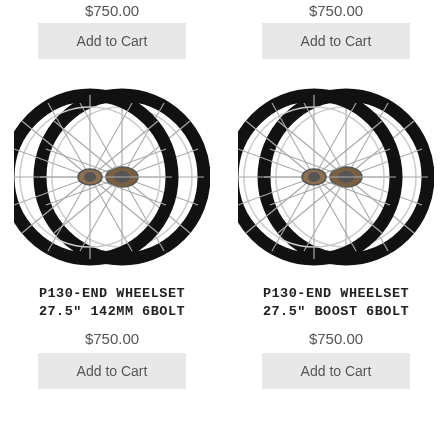$750.00
Add to Cart
$750.00
Add to Cart
[Figure (photo): Two mountain bike wheels (wheelset) shown from the side with black rims and silver spokes]
P130-END WHEELSET 27.5" 142MM 6BOLT
$750.00
Add to Cart
[Figure (photo): Two mountain bike wheels (wheelset) shown from the side with black rims and silver spokes]
P130-END WHEELSET 27.5" BOOST 6BOLT
$750.00
Add to Cart